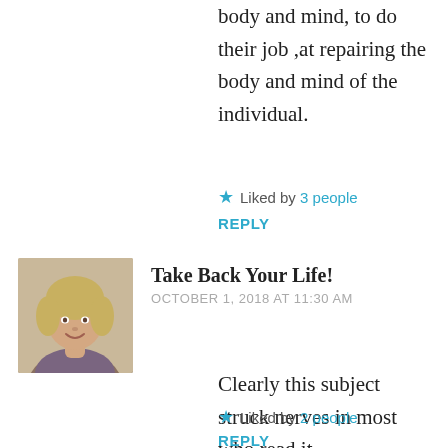body and mind, to do their job ,at repairing the body and mind of the individual.
Liked by 3 people
REPLY
[Figure (photo): Avatar photo of a blonde woman smiling]
Take Back Your Life!
OCTOBER 1, 2018 AT 11:30 AM
Clearly this subject struck nerves in most who read it.
Interesting and research provoking.
Touché
Liked by 2 people
REPLY